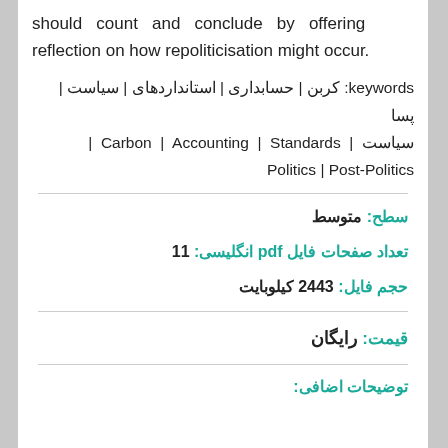should count and conclude by offering reflection on how repoliticisation might occur.
keywords: کربن | حسابداری | استانداردهای | سیاست | پسا | سیاست | Carbon | Accounting | Standards | Politics | Post-Politics
سطح: متوسط
تعداد صفحات فایل pdf انگلیسی: 11
حجم فایل: 2443 کیلوبایت
قیمت: رایگان
توضیحات اضافی: